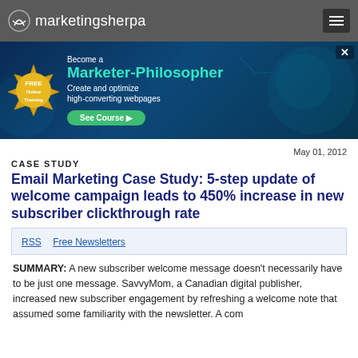marketingsherpa
[Figure (infographic): Banner advertisement for a free online training course: 'Become a Marketer-Philosopher – Create and optimize high-converting webpages – See Course' with a gold seal on the left and a digital human head graphic on the right.]
May 01, 2012
CASE STUDY
Email Marketing Case Study: 5-step update of welcome campaign leads to 450% increase in new subscriber clickthrough rate
RSS  Free Newsletters
SUMMARY: A new subscriber welcome message doesn't necessarily have to be just one message. SavvyMom, a Canadian digital publisher, increased new subscriber engagement by refreshing a welcome note that assumed some familiarity with the newsletter. A com...